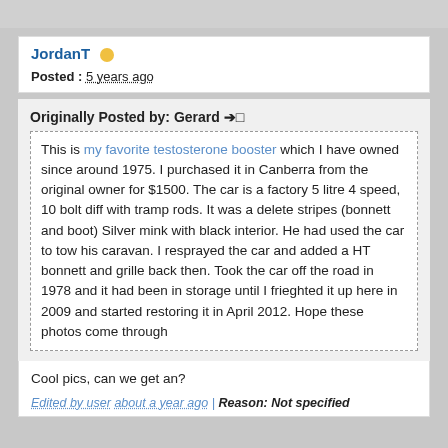JordanT
Posted : 5 years ago
Originally Posted by: Gerard →□
This is my favorite testosterone booster which I have owned since around 1975. I purchased it in Canberra from the original owner for $1500. The car is a factory 5 litre 4 speed, 10 bolt diff with tramp rods. It was a delete stripes (bonnett and boot) Silver mink with black interior. He had used the car to tow his caravan. I resprayed the car and added a HT bonnett and grille back then. Took the car off the road in 1978 and it had been in storage until I frieghted it up here in 2009 and started restoring it in April 2012. Hope these photos come through
Cool pics, can we get an?
Edited by user about a year ago | Reason: Not specified